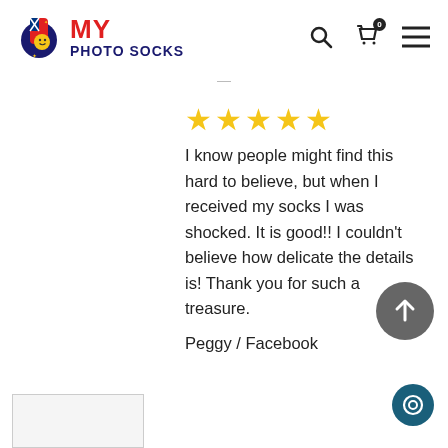[Figure (logo): My Photo Socks logo with colorful sock icon and text]
★★★★★
I know people might find this hard to believe, but when I received my socks I was shocked. It is good!! I couldn't believe how delicate the details is! Thank you for such a treasure.
Peggy / Facebook